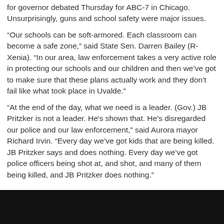for governor debated Thursday for ABC-7 in Chicago. Unsurprisingly, guns and school safety were major issues.
“Our schools can be soft-armored. Each classroom can become a safe zone,” said State Sen. Darren Bailey (R-Xenia). “In our area, law enforcement takes a very active role in protecting our schools and our children and then we’ve got to make sure that these plans actually work and they don't fail like what took place in Uvalde.”
“At the end of the day, what we need is a leader. (Gov.) JB Pritzker is not a leader. He's shown that. He's disregarded our police and our law enforcement,” said Aurora mayor Richard Irvin. “Every day we’ve got kids that are being killed. JB Pritzker says and does nothing. Every day we’ve got police officers being shot at, and shot, and many of them being killed, and JB Pritzker does nothing.”